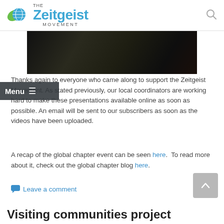THE Zeitgeist MOVEMENT
[Figure (photo): Dark interior photo of a room with people seated, low lighting]
Thanks again to everyone who came along to support the Zeitgeist Movement. As stated previously, our local coordinators are working hard to make these presentations available online as soon as possible. An email will be sent to our subscribers as soon as the videos have been uploaded.
A recap of the global chapter event can be seen here. To read more about it, check out the global chapter blog here.
Leave a comment
Visiting communities project